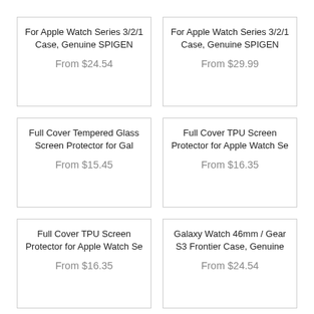For Apple Watch Series 3/2/1 Case, Genuine SPIGEN
From $24.54
For Apple Watch Series 3/2/1 Case, Genuine SPIGEN
From $29.99
Full Cover Tempered Glass Screen Protector for Gal
From $15.45
Full Cover TPU Screen Protector for Apple Watch Se
From $16.35
Full Cover TPU Screen Protector for Apple Watch Se
From $16.35
Galaxy Watch 46mm / Gear S3 Frontier Case, Genuine
From $24.54